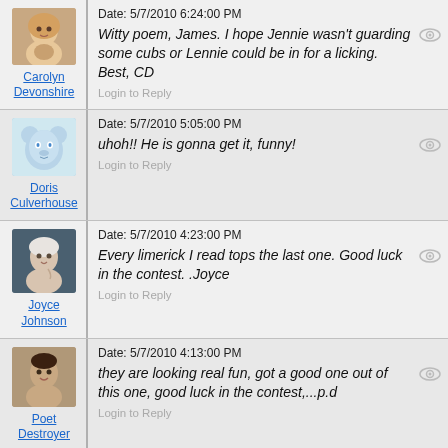[Figure (photo): Avatar photo of Carolyn Devonshire, blonde woman]
Carolyn Devonshire
Date: 5/7/2010 6:24:00 PM
Witty poem, James. I hope Jennie wasn't guarding some cubs or Lennie could be in for a licking. Best, CD
Login to Reply
[Figure (illustration): Avatar illustration of Doris Culverhouse, cartoon bear/animal drawing]
Doris Culverhouse
Date: 5/7/2010 5:05:00 PM
uhoh!! He is gonna get it, funny!
Login to Reply
[Figure (photo): Avatar photo of Joyce Johnson, older woman with white hair]
Joyce Johnson
Date: 5/7/2010 4:23:00 PM
Every limerick I read tops the last one. Good luck in the contest. .Joyce
Login to Reply
[Figure (photo): Avatar photo of Poet Destroyer, young woman smiling]
Poet Destroyer
Date: 5/7/2010 4:13:00 PM
they are looking real fun, got a good one out of this one, good luck in the contest,...p.d
Login to Reply